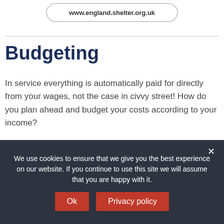www.england.shelter.org.uk
Budgeting
In service everything is automatically paid for directly from your wages, not the case in civvy street! How do you plan ahead and budget your costs according to your income?
LIVERPOOL VETERANS HQ SAYS:
We use cookies to ensure that we give you the best experience on our website. If you continue to use this site we will assume that you are happy with it.